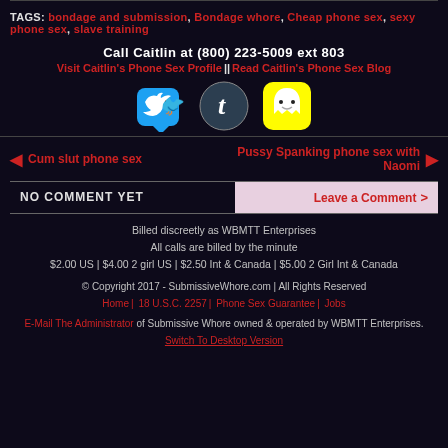TAGS: bondage and submission, Bondage whore, Cheap phone sex, sexy phone sex, slave training
Call Caitlin at (800) 223-5009 ext 803
Visit Caitlin's Phone Sex Profile || Read Caitlin's Phone Sex Blog
[Figure (illustration): Twitter, Tumblr, and Snapchat social media icons]
◄ Cum slut phone sex    Pussy Spanking phone sex with Naomi ►
NO COMMENT YET    Leave a Comment >
Billed discreetly as WBMTT Enterprises
All calls are billed by the minute
$2.00 US | $4.00 2 girl US | $2.50 Int & Canada | $5.00 2 Girl Int & Canada
© Copyright 2017 - SubmissiveWhore.com | All Rights Reserved
Home | 18 U.S.C. 2257 | Phone Sex Guarantee | Jobs
E-Mail The Administrator of Submissive Whore owned & operated by WBMTT Enterprises.
Switch To Desktop Version